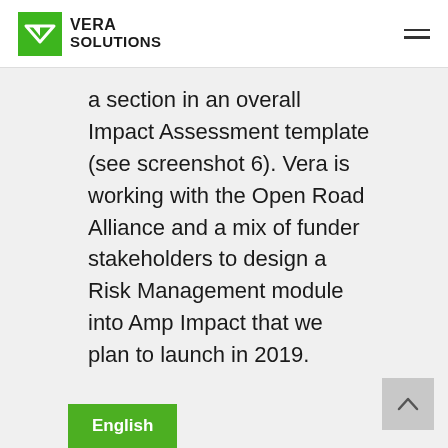VERA SOLUTIONS
a section in an overall Impact Assessment template (see screenshot 6). Vera is working with the Open Road Alliance and a mix of funder stakeholders to design a Risk Management module into Amp Impact that we plan to launch in 2019.
English